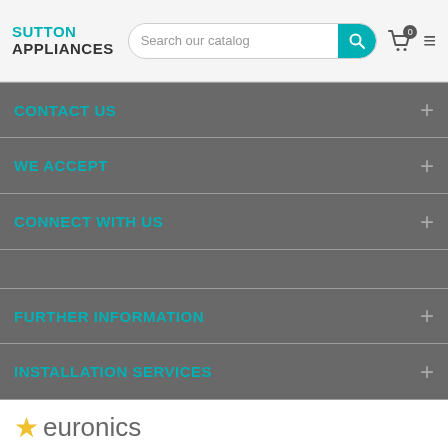[Figure (screenshot): Sutton Appliances website header with logo, search bar, cart icon and hamburger menu]
CONTACT US
WE ACCEPT
CONNECT WITH US
FURTHER INFORMATION
INSTALLATION SERVICES
[Figure (logo): Euronics logo with yellow star]
In the UK, Euronics is formed by a network of 'Euronics Agents' who are local Independent Electrical Specialists. In many cases, they are family run businesses, some of which have been